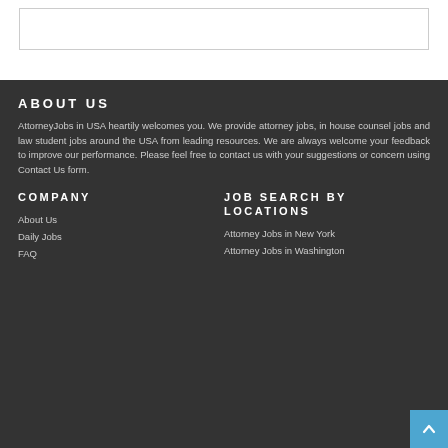ABOUT US
AttorneyJobs in USA heartily welcomes you. We provide attorney jobs, in house counsel jobs and law student jobs around the USA from leading resources. We are always welcome your feedback to improve our performance. Please feel free to contact us with your suggestions or concern using Contact Us form.
COMPANY
About Us
Daily Jobs
FAQ
JOB SEARCH BY LOCATIONS
Attorney Jobs in New York
Attorney Jobs in Washington